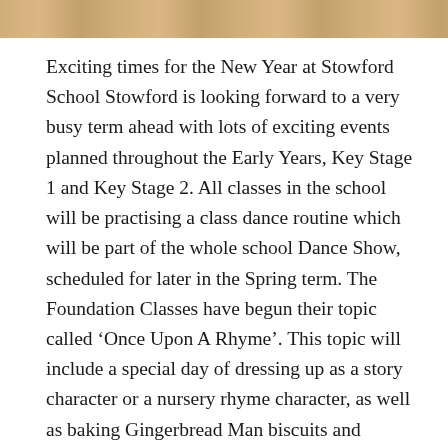[Figure (photo): Top strip of a photograph showing a warm golden/brown scene, likely children or a school setting]
Exciting times for the New Year at Stowford School Stowford is looking forward to a very busy term ahead with lots of exciting events planned throughout the Early Years, Key Stage 1 and Key Stage 2. All classes in the school will be practising a class dance routine which will be part of the whole school Dance Show, scheduled for later in the Spring term. The Foundation Classes have begun their topic called ‘Once Upon A Rhyme’. This topic will include a special day of dressing up as a story character or a nursery rhyme character, as well as baking Gingerbread Man biscuits and writing their own stories. The children have just finished helping to make a dis-play in picture frames for the school reception area which looks beautiful.